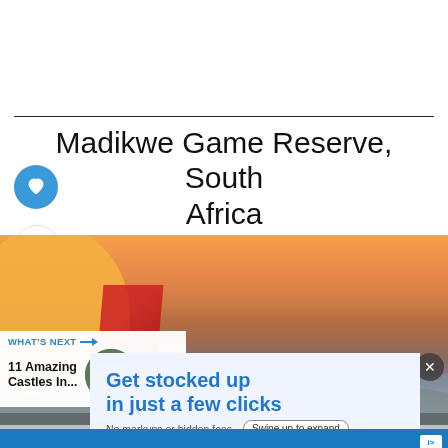Madikwe Game Reserve, South Africa
[Figure (photo): Landscape photograph of Madikwe Game Reserve at sunset, showing orange sky, distant mountains, and foreground elements including a hot air balloon and red fabric. Overlaid with a 'What's Next' panel showing '11 Amazing Castles In...' and an advertisement banner reading 'Get stocked up in just a few clicks. No markups or hidden fees.']